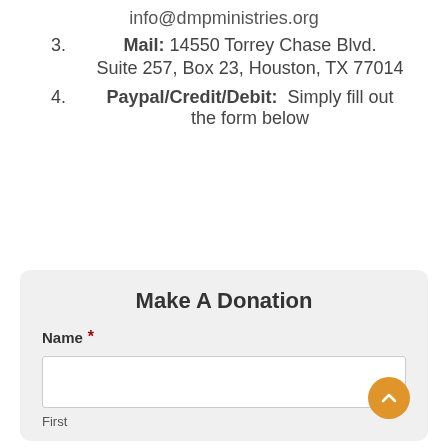info@dmpministries.org
3. Mail: 14550 Torrey Chase Blvd. Suite 257, Box 23, Houston, TX 77014
4. Paypal/Credit/Debit: Simply fill out the form below
Make A Donation
Name *
First